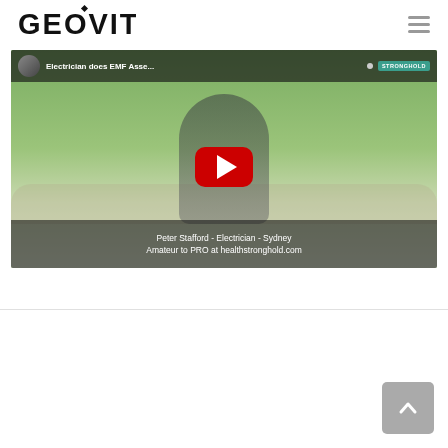GEOVITAL
[Figure (screenshot): YouTube video thumbnail showing a man standing outdoors in a park setting. The video title bar reads 'Electrician does EMF Asse...' with a STRONGHOLD badge. A red YouTube play button is centered. The bottom caption bar reads: 'Peter Stafford - Electrician - Sydney / Amateur to PRO at healthstronghold.com']
Peter Stafford - Electrician - Sydney
Amateur to PRO at healthstronghold.com